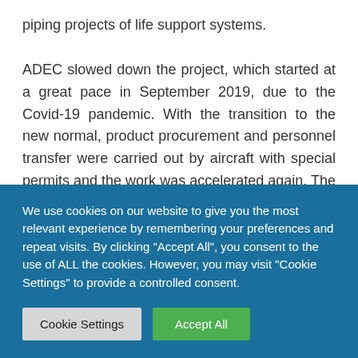piping projects of life support systems.

ADEC slowed down the project, which started at a great pace in September 2019, due to the Covid-19 pandemic. With the transition to the new normal, product procurement and personnel transfer were carried out by aircraft with special permits and the work was accelerated again. The 30-person team continues to work with great devotion to deliver the project on the
We use cookies on our website to give you the most relevant experience by remembering your preferences and repeat visits. By clicking "Accept All", you consent to the use of ALL the cookies. However, you may visit "Cookie Settings" to provide a controlled consent.